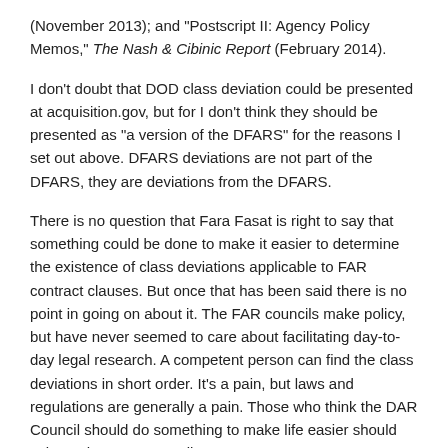(November 2013); and "Postscript II: Agency Policy Memos," The Nash & Cibinic Report (February 2014).
I don't doubt that DOD class deviation could be presented at acquisition.gov, but for I don't think they should be presented as "a version of the DFARS" for the reasons I set out above. DFARS deviations are not part of the DFARS, they are deviations from the DFARS.
There is no question that Fara Fasat is right to say that something could be done to make it easier to determine the existence of class deviations applicable to FAR contract clauses. But once that has been said there is no point in going on about it. The FAR councils make policy, but have never seemed to care about facilitating day-to-day legal research. A competent person can find the class deviations in short order. It's a pain, but laws and regulations are generally a pain. Those who think the DAR Council should do something to make life easier should write to the DAR Council.